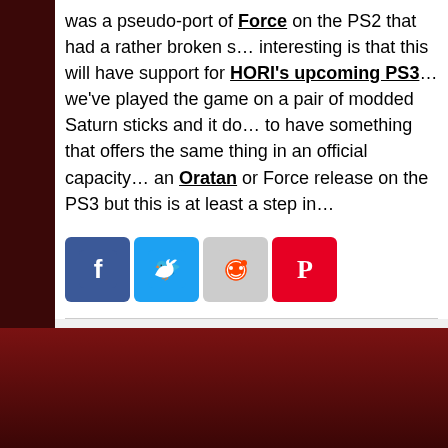was a pseudo-port of Force on the PS2 that had a rather broken s… interesting is that this will have support for HORI's upcoming PS3… we've played the game on a pair of modded Saturn sticks and it do… to have something that offers the same thing in an official capacity… an Oratan or Force release on the PS3 but this is at least a step in…
[Figure (other): Social share buttons: Facebook (blue), Twitter (blue bird), Reddit (grey alien), Pinterest (red P)]
[Figure (other): Pagination bar showing: First, «, ..., 10, 20, ..., 27, 28, 29 (current/active), 30, 31, ..., 4x]